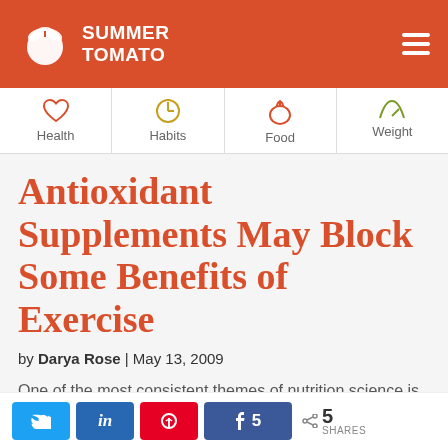SUMMER TOMATO
[Figure (other): Navigation menu with icons for Health, Habits, Food, Weight]
Antioxidant Supplements May Block Some Benefits of Exercise
by Darya Rose | May 13, 2009
One of the most consistent themes of nutrition science is that vitamin supplements (pills, powders, liquids, etc.) are
[Figure (other): Social share buttons: Twitter, LinkedIn, Pinterest, Facebook (5 shares), and share count 5 SHARES]